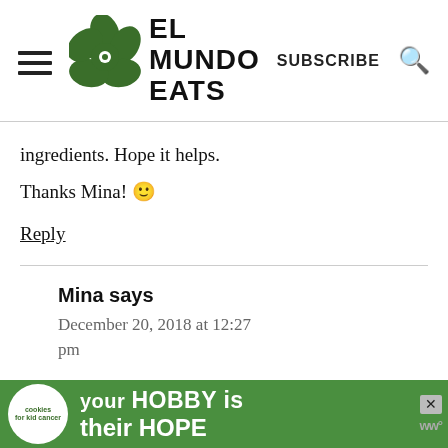EL MUNDO EATS
ingredients. Hope it helps.
Thanks Mina! 🙂
Reply
Mina says
December 20, 2018 at 12:27 pm
Hi again Bea. Thank you